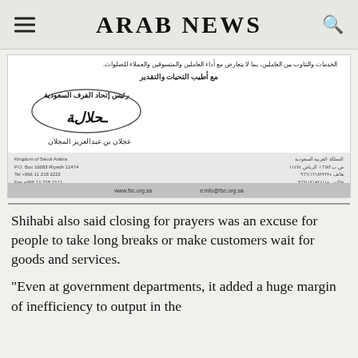ARAB NEWS
[Figure (photo): Scanned letter in Arabic with signature of رئيس إتحاد الفرف السعودية (President of Saudi Chambers Federation), signed by عجلان بن عبدالعزيز المجلان, with letterhead footer showing Kingdom of Saudi Arabia contact details and website www.fsc.org.sa]
Shihabi also said closing for prayers was an excuse for people to take long breaks or make customers wait for goods and services.
"Even at government departments, it added a huge margin of inefficiency to output in the